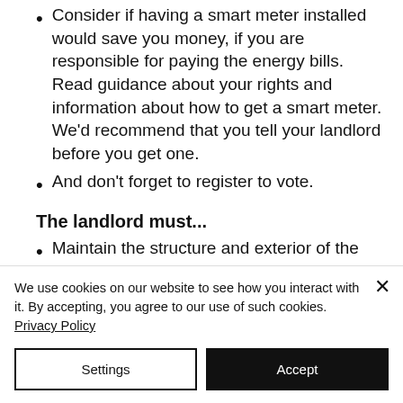Consider if having a smart meter installed would save you money, if you are responsible for paying the energy bills. Read guidance about your rights and information about how to get a smart meter. We'd recommend that you tell your landlord before you get one.
And don't forget to register to vote.
The landlord must...
Maintain the structure and exterior of the property.
We use cookies on our website to see how you interact with it. By accepting, you agree to our use of such cookies. Privacy Policy
Settings
Accept